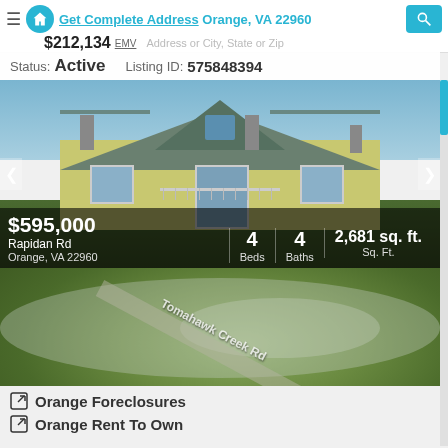Get Complete Address Orange, VA 22960 | $212,134 EMV
Status: Active   Listing ID: 575848394
[Figure (photo): Photo of a large yellow colonial-style house with metal roof, balcony, and chimneys. Listing shows $595,000, 4 Beds, 4 Baths, 2,681 sq. ft., Rapidan Rd, Orange, VA 22960]
[Figure (photo): Aerial/satellite view showing Tomahawk Creek Rd in Orange, VA 22960. Listing shows Beds, Baths, — Sq. Ft.]
Orange Foreclosures
Orange Rent To Own